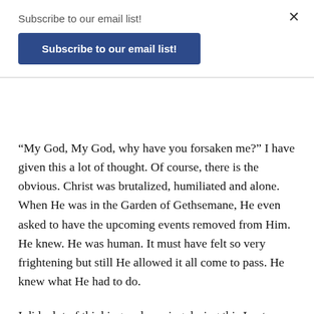Subscribe to our email list!
[Figure (other): Blue button labeled 'Subscribe to our email list!']
“My God, My God, why have you forsaken me?” I have given this a lot of thought. Of course, there is the obvious. Christ was brutalized, humiliated and alone. When He was in the Garden of Gethsemane, He even asked to have the upcoming events removed from Him. He knew. He was human. It must have felt so very frightening but still He allowed it all come to pass. He knew what He had to do.
I did a lot of thinking and praying during this Lenten season. Was there a time in my life when I felt alone? I